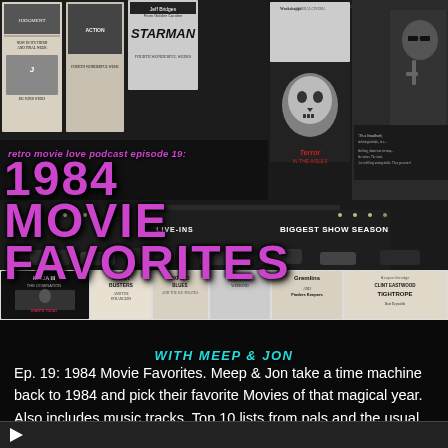[Figure (illustration): Collage of 1984 movie newspaper advertisements including Starman, Terror in the Aisles, Ghostbusters, The Terminator, Ninja III: The Domination, Gremlins, Tightrope, and drive-in theater marquee with multiple movie listings. Black and white newspaper ad aesthetic.]
retro movie love podcast episode 19:
1984 MOVIE FAVORITES
WITH MEEP & JON
Ep. 19: 1984 Movie Favorites. Meep & Jon take a time machine back to 1984 and pick their favorite Movies of that magical year. Also includes music tracks, Top 10 lists from pals and the usual Movie nostalgia shenanigans.
[Figure (other): Video player bar at bottom of screen]